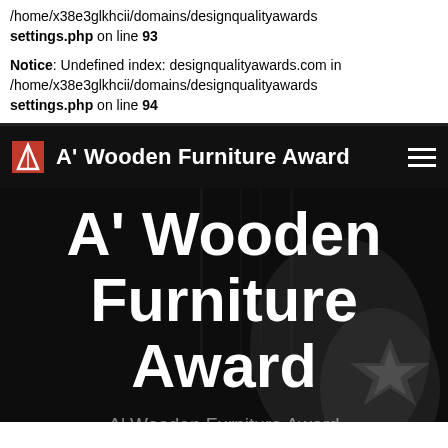/home/x38e3glkhcii/domains/designqualityawards settings.php on line 93
Notice: Undefined index: designqualityawards.com in /home/x38e3glkhcii/domains/designqualityawards settings.php on line 94
A' Wooden Furniture Award
A' Wooden Furniture Award
A' Wooden Furniture Award is an international, juried